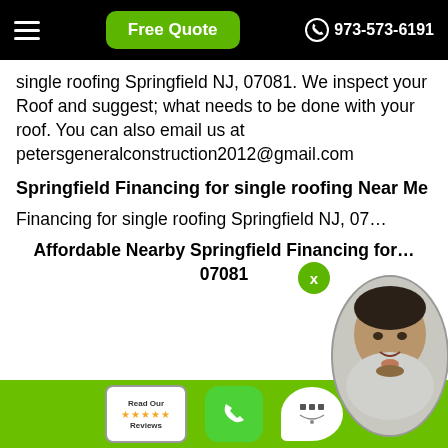Free Quote  973-573-6191
single roofing Springfield NJ, 07081. We inspect your Roof and suggest; what needs to be done with your roof. You can also email us at petersgeneralconstruction2012@gmail.com
Springfield Financing for single roofing Near Me
Financing for single roofing Springfield NJ, 07...
Affordable Nearby Springfield Financing for... 07081
OUR SERVICES
HOME
ABOUT
[Figure (photo): Portrait photo of a man overlaid on page corner, with a green X close button]
Read Our Reviews | Phone | Chat